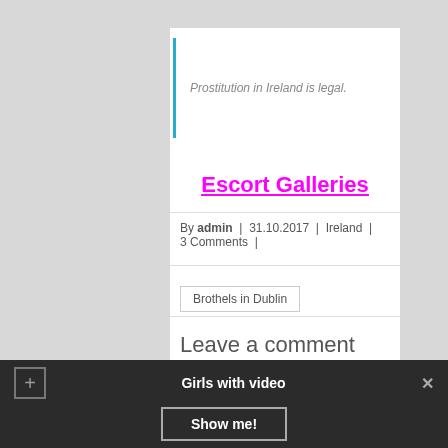Prostitution in Ireland is legal.
Escort Galleries
By admin | 31.10.2017 | Ireland | 3 Comments |
Brothels in Dublin
Leave a comment
Girls with video  Show me!